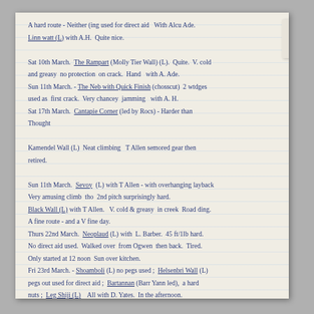[Figure (photo): Handwritten notebook page with blue ink entries recording climbing routes and dates. Entries include references to The Rampart, The Neb with Quick Finish, Cantapie Corner, Sevoy, Black Wall, Neoplaud, Shoamboli, Helsenbri Wall, Bartannan, Leg Shiji, with partners including A.H., T.Allen, L. Barber, D. Yates.]